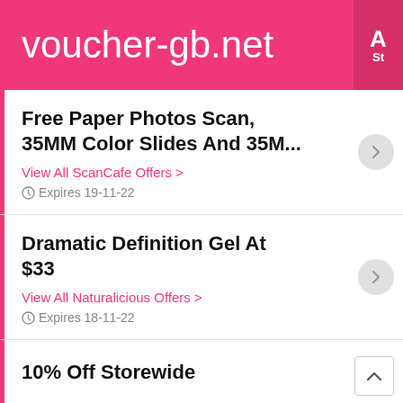voucher-gb.net
Free Paper Photos Scan, 35MM Color Slides And 35M...
View All ScanCafe Offers >
Expires 19-11-22
Dramatic Definition Gel At $33
View All Naturalicious Offers >
Expires 18-11-22
10% Off Storewide